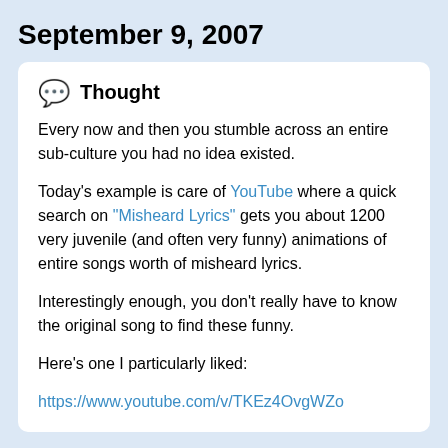September 9, 2007
💬  Thought
Every now and then you stumble across an entire sub-culture you had no idea existed.
Today's example is care of YouTube where a quick search on "Misheard Lyrics" gets you about 1200 very juvenile (and often very funny) animations of entire songs worth of misheard lyrics.
Interestingly enough, you don't really have to know the original song to find these funny.
Here's one I particularly liked:
https://www.youtube.com/v/TKEz4OvgWZo